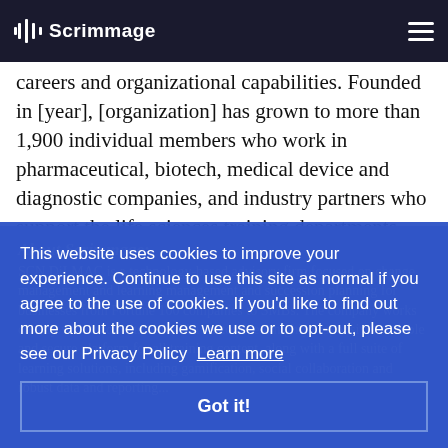Scrimmage (logo/navigation bar)
careers and organizational capabilities. Founded in [year], [organization] has grown to more than 1,900 individual members who work in pharmaceutical, biotech, medical device and diagnostic companies, and industry partners who support the life sciences training departments.
About Scrimmage:
SCN DiLMAC is a technology-based advisory firm focused on change management and learning management and succession planning for businesses from Fortune 100 companies to SMBs. The company works closely with its clients to build a customized, highly responsive, scalable and secure platform for all training content, along with a full suite of learning solutions, including gamification, social collaboration and robust data and reporting...
This website uses cookies to improve your experience. Continue to use this site as normal if you agree to the use of cookies. If you'd like to find out more about the cookies we use or to opt-out, please see our Privacy Policy  Learn more
Got it!